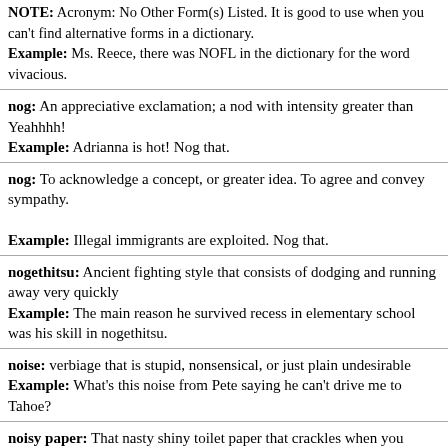NOTE: Acronym: No Other Form(s) Listed. It is good to use when you can't find alternative forms in a dictionary. Example: Ms. Reece, there was NOFL in the dictionary for the word vivacious.
nog: An appreciative exclamation; a nod with intensity greater than Yeahhhh! Example: Adrianna is hot! Nog that.
nog: To acknowledge a concept, or greater idea. To agree and convey sympathy. Example: Illegal immigrants are exploited. Nog that.
nogethitsu: Ancient fighting style that consists of dodging and running away very quickly. Example: The main reason he survived recess in elementary school was his skill in nogethitsu.
noise: verbiage that is stupid, nonsensical, or just plain undesirable. Example: What's this noise from Pete saying he can't drive me to Tahoe?
noisy paper: That nasty shiny toilet paper that crackles when you touch it. Example: This toilet only has noisy paper. [Are we in Europe?